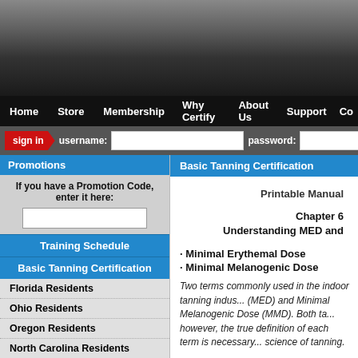[Figure (screenshot): Dark gradient header area of a website]
Home | Store | Membership | Why Certify | About Us | Support | Co...
sign in | username: [field] | password: [field]
Promotions
If you have a Promotion Code, enter it here:
Training Schedule
Basic Tanning Certification
Florida Residents
Ohio Residents
Oregon Residents
North Carolina Residents
South Carolina Residents
All Other States
Canadian Residents
Basic Tanning Certification
Printable Manual
Chapter 6
Understanding MED and...
· Minimal Erythemal Dose
· Minimal Melanogenic Dose
Two terms commonly used in the indoor tanning indus... (MED) and Minimal Melanogenic Dose (MMD). Both ta... however, the true definition of each term is necessary... science of tanning.